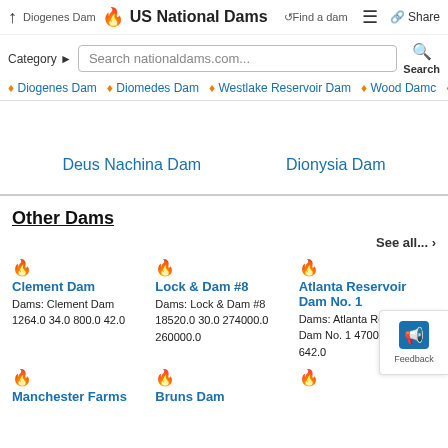↑ Diogenes Dam 🔥 US National Dams ↺Find a dam ≡ Share
Category ▶ Search nationaldams.com... Search
Diogenes Dam • Diomedes Dam • Westlake Reservoir Dam • Wood Damc • Proposed Dan C
Deus Nachina Dam    Dionysia Dam
Other Dams
See all... ›
Clement Dam
Dams: Clement Dam 1264.0 34.0 800.0 42.0
Lock & Dam #8
Dams: Lock & Dam #8 18520.0 30.0 274000.0 260000.0
Atlanta Reservoir Dam No. 1
Dams: Atlanta Reservoir Dam No. 1 4700.0 90.0 642.0
Manchester Farms
Bruns Dam